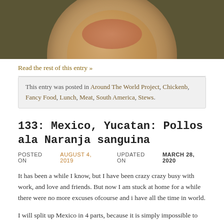[Figure (photo): A food photograph showing a circular plate or bowl with reddish-brown food, photographed from above against a dark olive/green background. Only the top portion of the plate is visible.]
Read the rest of this entry »
This entry was posted in Around The World Project, Chickenb, Fancy Food, Lunch, Meat, South America, Stews.
133: Mexico, Yucatan: Pollos ala Naranja sanguina
POSTED ON AUGUST 4, 2019   UPDATED ON MARCH 28, 2020
It has been a while I know, but I have been crazy crazy busy with work, and love and friends. But now I am stuck at home for a while there were no more excuses ofcourse and i have all the time in world.
I will split up Mexico in 4 parts, because it is simply impossible to